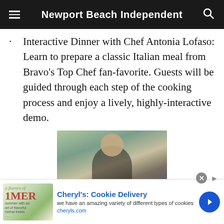Newport Beach Independent
Interactive Dinner with Chef Antonia Lofaso: Learn to prepare a classic Italian meal from Bravo’s Top Chef fan-favorite. Guests will be guided through each step of the cooking process and enjoy a lively, highly-interactive demo.
[Figure (photo): Photo of a man smiling, taken outdoors at what appears to be a dining event or restaurant setting]
[Figure (other): Advertisement banner for Cheryl’s Cookie Delivery with text: 'we have an amazing variety of different types of cookies' and URL cheryls.com]